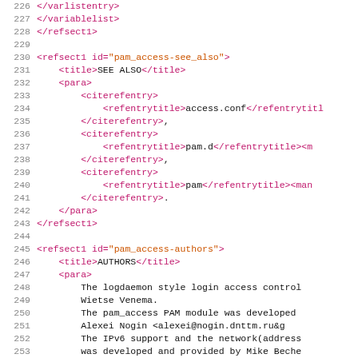Source code listing lines 226-255, XML document markup
226     </varlistentry>
227     </variablelist>
228   </refsect1>
229
230   <refsect1 id="pam_access-see_also">
231     <title>SEE ALSO</title>
232     <para>
233       <citerefentry>
234         <refentrytitle>access.conf</refentrytitle>
235       </citerefentry>,
236       <citerefentry>
237         <refentrytitle>pam.d</refentrytitle><m
238       </citerefentry>,
239       <citerefentry>
240         <refentrytitle>pam</refentrytitle><man
241       </citerefentry>.
242     </para>
243   </refsect1>
244
245   <refsect1 id="pam_access-authors">
246     <title>AUTHORS</title>
247     <para>
248       The logdaemon style login access control
249       Wietse Venema.
250       The pam_access PAM module was developed
251       Alexei Nogin &lt;alexei@nogin.dnttm.ru&g
252       The IPv6 support and the network(address
253       was developed and provided by Mike Beche
254     </para>
255   </refsect1>